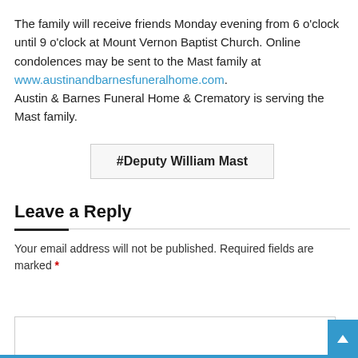The family will receive friends Monday evening from 6 o'clock until 9 o'clock at Mount Vernon Baptist Church. Online condolences may be sent to the Mast family at www.austinandbarnesfuneralhome.com. Austin & Barnes Funeral Home & Crematory is serving the Mast family.
#Deputy William Mast
Leave a Reply
Your email address will not be published. Required fields are marked *